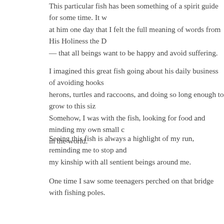This particular fish has been something of a spirit guide for some time. It was looking at him one day that I felt the full meaning of words from His Holiness the D— that all beings want to be happy and avoid suffering.
I imagined this great fish going about his daily business of avoiding hooks, herons, turtles and raccoons, and doing so long enough to grow to this size. Somehow, I was with the fish, looking for food and minding my own small corner in the world.
Seeing this fish is always a highlight of my run, reminding me to stop and consider my kinship with all sentient beings around me.
One time I saw some teenagers perched on that bridge with fishing poles. I asked them to reconsider what they were doing … because there was a large fish down there I was fond of. It probably sounded pretty flaky, but the thought of that fish getting hooked and then discarded was unbearable. Sometimes being an adult has perks … I must have seemed like some kind of authority figure.
I've seen my buddy from time to time since then, although not yesterday, and I know one day he'll be gone. And when he goes, it will remind me that what we cherish is always changing, and that everything will pass and fade away — the stream, the bridge, the neighborhood, my running shoes and these runs, my breath, m
That's both unsettling and reassuring. It means life goes on, with or without me — I'm not in charge. The best I can do at any moment is just breathe in and run.